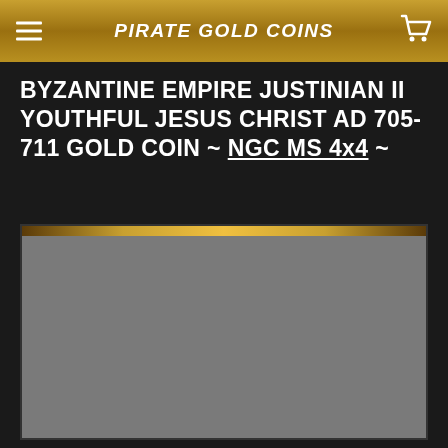PIRATE GOLD COINS
BYZANTINE EMPIRE JUSTINIAN II YOUTHFUL JESUS CHRIST AD 705-711 GOLD COIN ~ NGC MS 4x4 ~
[Figure (photo): Product image area with gold decorative top bar and gray placeholder image region for a Byzantine gold coin]